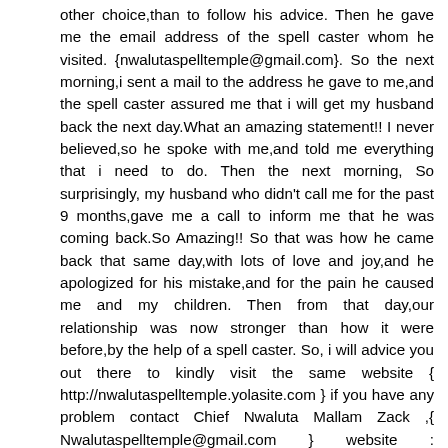other choice,than to follow his advice. Then he gave me the email address of the spell caster whom he visited. {nwalutaspelltemple@gmail.com}. So the next morning,i sent a mail to the address he gave to me,and the spell caster assured me that i will get my husband back the next day.What an amazing statement!! I never believed,so he spoke with me,and told me everything that i need to do. Then the next morning, So surprisingly, my husband who didn't call me for the past 9 months,gave me a call to inform me that he was coming back.So Amazing!! So that was how he came back that same day,with lots of love and joy,and he apologized for his mistake,and for the pain he caused me and my children. Then from that day,our relationship was now stronger than how it were before,by the help of a spell caster. So, i will advice you out there to kindly visit the same website { http://nwalutaspelltemple.yolasite.com } if you have any problem contact Chief Nwaluta Mallam Zack ,{ Nwalutaspelltemple@gmail.com } website : http://chiefnwalutamallamzack.yolasite.com , Thanks you Chief Nwaluta, i will always be testifying about your good work.